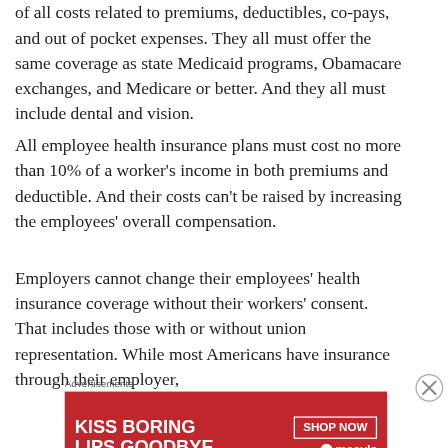of all costs related to premiums, deductibles, co-pays, and out of pocket expenses. They all must offer the same coverage as state Medicaid programs, Obamacare exchanges, and Medicare or better. And they all must include dental and vision.
All employee health insurance plans must cost no more than 10% of a worker's income in both premiums and deductible. And their costs can't be raised by increasing the employees' overall compensation.
Employers cannot change their employees' health insurance coverage without their workers' consent. That includes those with or without union representation. While most Americans have insurance through their employer,
Advertisements
[Figure (photo): Advertisement banner for Macy's with red background, woman's face with red lipstick, text reading 'KISS BORING LIPS GOODBYE', and a 'SHOP NOW' button with Macy's star logo]